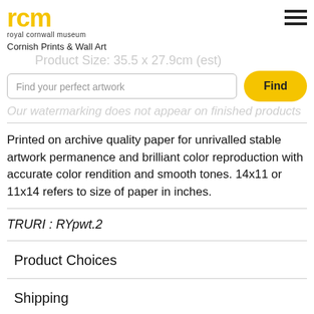rcm royal cornwall museum
Cornish Prints & Wall Art
Product Size: 35.5 x 27.9cm (est)
Find your perfect artwork
Our watermarking does not appear on finished products
Printed on archive quality paper for unrivalled stable artwork permanence and brilliant color reproduction with accurate color rendition and smooth tones. 14x11 or 11x14 refers to size of paper in inches.
TRURI : RYpwt.2
Product Choices
Shipping
30 Day Money Back Guarantee